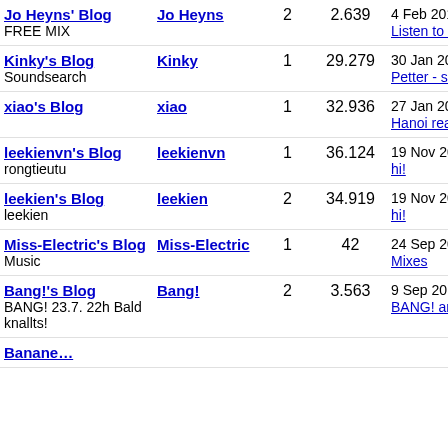| Blog | Author | Posts | Views | Last Activity |
| --- | --- | --- | --- | --- |
| Jo Heyns' Blog FREE MIX | Jo Heyns | 2 | 2.639 | 4 Feb 2011, 12:3... Listen to Nelly's... |
| Kinky's Blog Soundsearch | Kinky | 1 | 29.279 | 30 Jan 2011, 14:... Petter - some po... |
| xiao's Blog | xiao | 1 | 32.936 | 27 Jan 2011, 09:... Hanoi real estate... |
| leekienvn's Blog rongtieutu | leekienvn | 1 | 36.124 | 19 Nov 2010, 03... hi! |
| leekien's Blog leekien | leekien | 2 | 34.919 | 19 Nov 2010, 03... hi! |
| Miss-Electric's Blog Music | Miss-Electric | 1 | 42 | 24 Sep 2010, 14... Mixes |
| Bang!'s Blog BANG! 23.7. 22h Bald knallts! | Bang! | 2 | 3.563 | 9 Sep 2010, 12:... BANG! am 1.10... wieder |
| Banane... |  |  |  |  |